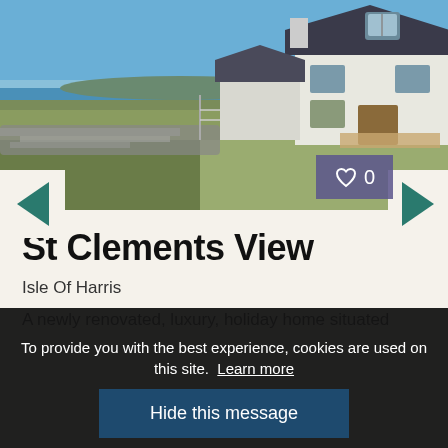[Figure (photo): Exterior photo of St Clements View holiday cottage on the Isle of Harris. A white rendered cottage with dark roof is visible against a blue sky, with green fields, stone walls, and the sea visible in the background.]
St Clements View
Isle Of Harris
A newly renovated, luxury, holiday home situated
To provide you with the best experience, cookies are used on this site. Learn more
Hide this message